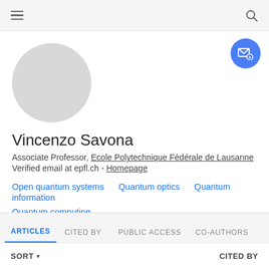Navigation bar with menu and search icons
[Figure (illustration): Gray circular avatar placeholder for profile photo]
Vincenzo Savona
Associate Professor, Ecole Polytechnique Fédérale de Lausanne
Verified email at epfl.ch - Homepage
Open quantum systems
Quantum optics
Quantum information
Quantum computing
ARTICLES  CITED BY  PUBLIC ACCESS  CO-AUTHORS
SORT ▾   CITED BY